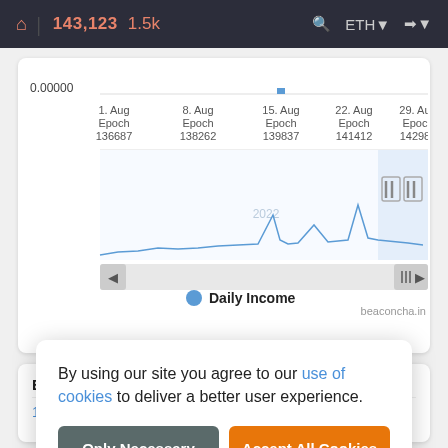🏠 | 143,123  1.5k   🔍  ETH ▾  ➜▾
[Figure (line-chart): Line chart showing Daily Income over time from 1 Aug to 29 Aug with epoch labels (136687 to 142987). Y-axis shows 0.00000. A spike near 15. Aug and another near 22-29 Aug. Legend: blue circle = Daily Income. Source: beaconcha.in]
Ep
14...
By using our site you agree to our use of cookies to deliver a better user experience.
Only Necessary
Accept All Cookies